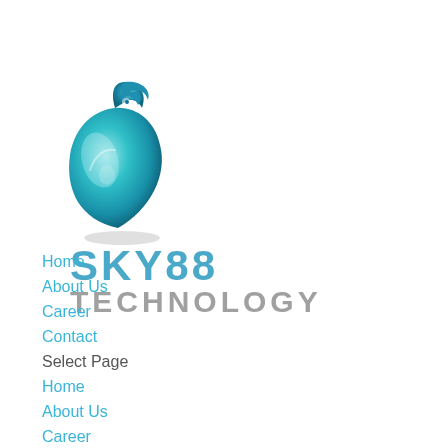[Figure (logo): Sky88 Technology logo featuring a teal/cyan teardrop-peacock shape on the left and the text SKY88 TECHNOLOGY in blue-gray on the right]
Home
About Us
Career
Contact
Select Page
Home
About Us
Career